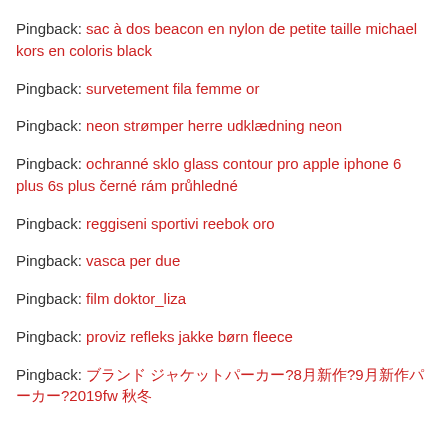Pingback: sac à dos beacon en nylon de petite taille michael kors en coloris black
Pingback: survetement fila femme or
Pingback: neon strømper herre udklædning neon
Pingback: ochranné sklo glass contour pro apple iphone 6 plus 6s plus černé rám průhledné
Pingback: reggiseni sportivi reebok oro
Pingback: vasca per due
Pingback: film doktor_liza
Pingback: proviz refleks jakke børn fleece
Pingback: ブランド ジャケットパーカー?8月新作?9月新作パーカー?2019fw 秋冬